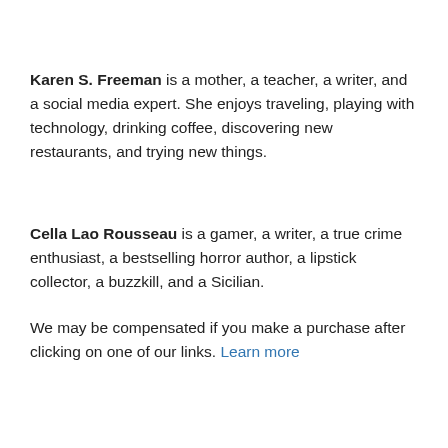Karen S. Freeman is a mother, a teacher, a writer, and a social media expert. She enjoys traveling, playing with technology, drinking coffee, discovering new restaurants, and trying new things.
Cella Lao Rousseau is a gamer, a writer, a true crime enthusiast, a bestselling horror author, a lipstick collector, a buzzkill, and a Sicilian.
We may be compensated if you make a purchase after clicking on one of our links. Learn more